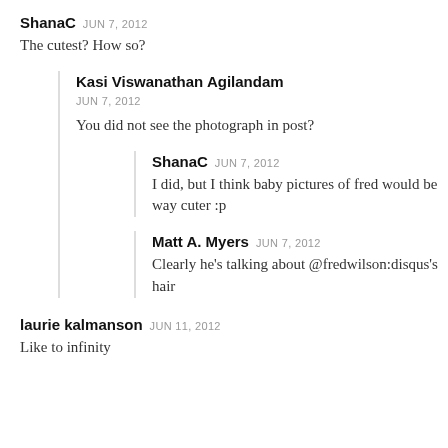ShanaC JUN 7, 2012
The cutest? How so?
Kasi Viswanathan Agilandam JUN 7, 2012
You did not see the photograph in post?
ShanaC JUN 7, 2012
I did, but I think baby pictures of fred would be way cuter :p
Matt A. Myers JUN 7, 2012
Clearly he's talking about @fredwilson:disqus's hair
laurie kalmanson JUN 11, 2012
Like to infinity